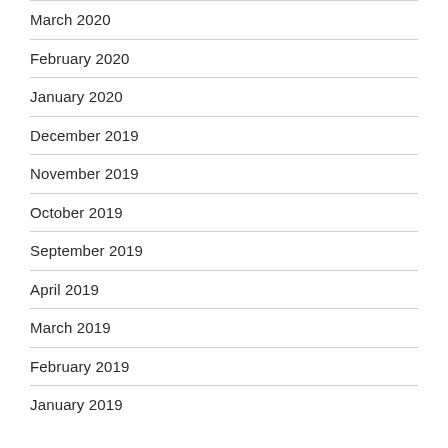March 2020
February 2020
January 2020
December 2019
November 2019
October 2019
September 2019
April 2019
March 2019
February 2019
January 2019